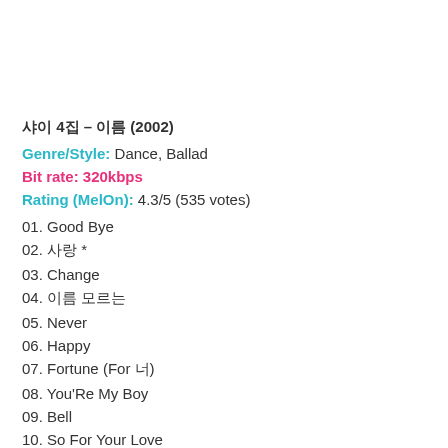샤이니 4집 – 이름 (2002)
Genre/Style: Dance, Ballad
Bit rate: 320kbps
Rating (MelOn): 4.3/5 (535 votes)
01. Good Bye
02. 사랑 *
03. Change
04. 이름 모르는
05. Never
06. Happy
07. Fortune (For 너)
08. You'Re My Boy
09. Bell
10. So For Your Love